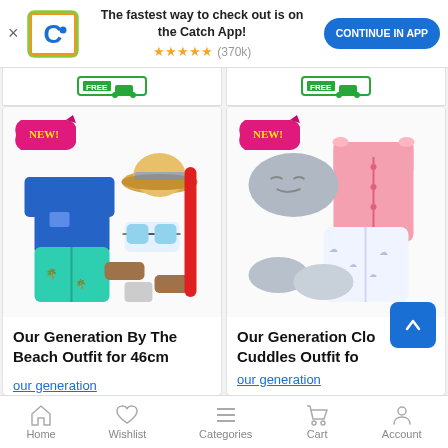[Figure (screenshot): App banner with Catch logo, 'The fastest way to check out is on the Catch App!' text, star rating (370k), and CONTINUE IN APP button]
[Figure (photo): Our Generation By The Beach Outfit for 46cm - blue t-shirt, teal shorts, straw hat, sunglasses, sandals, snorkel with NEW! badge]
Our Generation By The Beach Outfit for 46cm
our generation
[Figure (photo): Our Generation Cloud Cuddles Outfit for 46cm - pink top, white patterned pants, grey slippers with NEW! badge]
Our Generation Cloud Cuddles Outfit fo
our generation